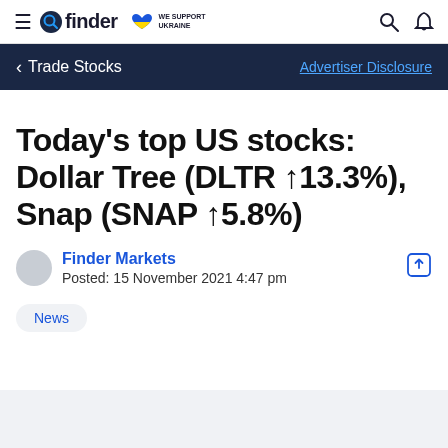finder — WE SUPPORT UKRAINE
Trade Stocks | Advertiser Disclosure
Today's top US stocks: Dollar Tree (DLTR ↑13.3%), Snap (SNAP ↑5.8%)
Finder Markets
Posted: 15 November 2021 4:47 pm
News